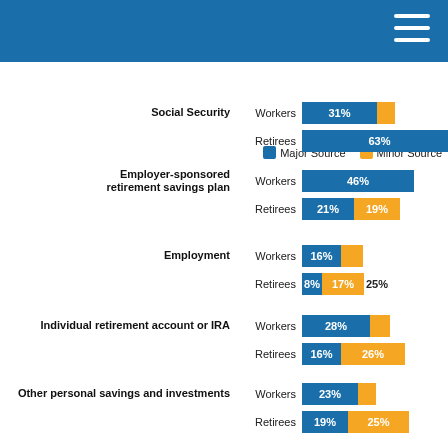[Figure (grouped-bar-chart): Retirement Income Sources — Major vs Minor Source]